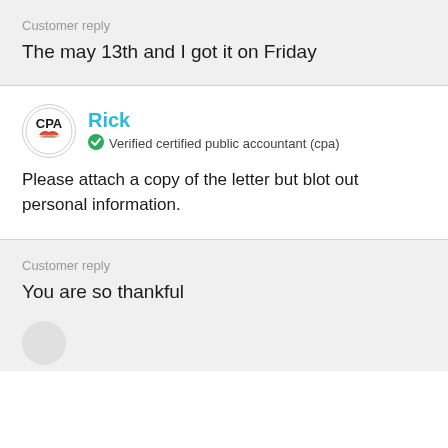Customer reply
The may 13th and I got it on Friday
Rick
Verified certified public accountant (cpa)
Please attach a copy of the letter but blot out personal information.
Customer reply
You are so thankful